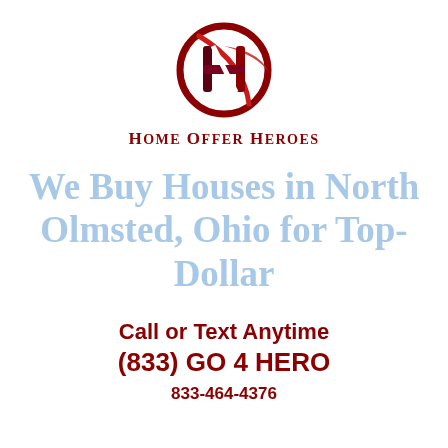[Figure (logo): Home Offer Heroes circular logo with stylized H letter in dark red/maroon with a swoosh accent]
Home Offer Heroes
We Buy Houses in North Olmsted, Ohio for Top-Dollar
Call or Text Anytime
(833) GO 4 HERO
833-464-4376